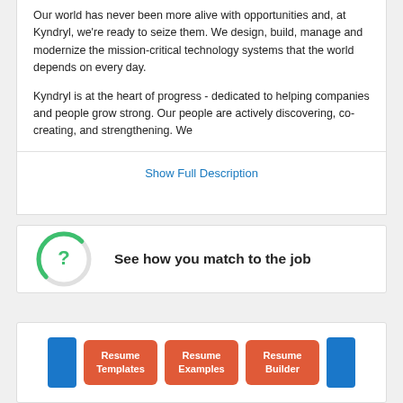Our world has never been more alive with opportunities and, at Kyndryl, we're ready to seize them. We design, build, manage and modernize the mission-critical technology systems that the world depends on every day.
Kyndryl is at the heart of progress - dedicated to helping companies and people grow strong. Our people are actively discovering, co-creating, and strengthening. We
Show Full Description
[Figure (infographic): Circular progress indicator with green arc and question mark, labeled 'See how you match to the job']
See how you match to the job
[Figure (infographic): Three orange buttons labeled Resume Templates, Resume Examples, Resume Builder, with blue tabs on sides]